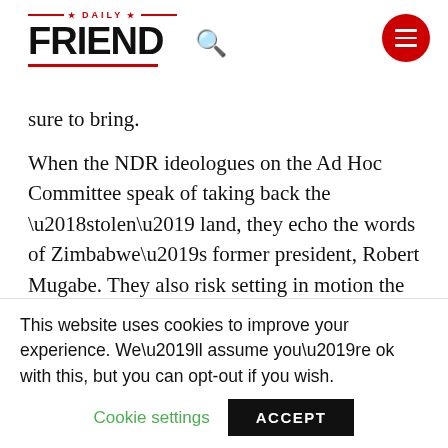Daily Friend - navigation header with logo and menu
sure to bring.
When the NDR ideologues on the Ad Hoc Committee speak of taking back the ‘stolen’ land, they echo the words of Zimbabwe’s former president, Robert Mugabe. They also risk setting in motion the same kind of economic collapse that Zimbabwe has suffered.
This website uses cookies to improve your experience. We’ll assume you’re ok with this, but you can opt-out if you wish.
Cookie settings | ACCEPT